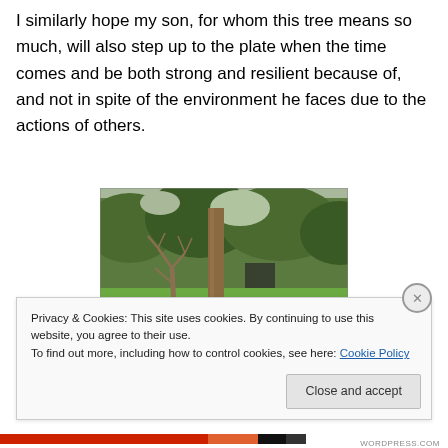I similarly hope my son, for whom this tree means so much, will also step up to the plate when the time comes and be both strong and resilient because of, and not in spite of the environment he faces due to the actions of others.
[Figure (photo): Photograph of a garden or field with trees, including a tall straight tree trunk in the center and a bare twisted smaller tree beside it, with green grass in the foreground and dense bushes/trees in the background.]
Privacy & Cookies: This site uses cookies. By continuing to use this website, you agree to their use.
To find out more, including how to control cookies, see here: Cookie Policy
Close and accept